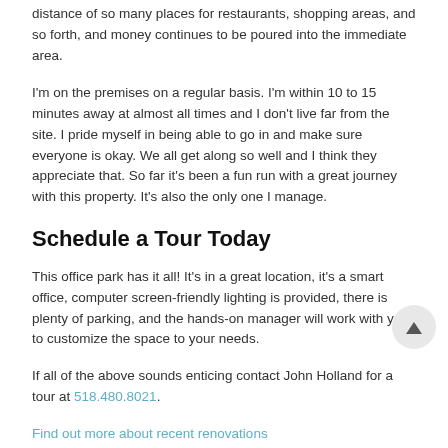distance of so many places for restaurants, shopping areas, and so forth, and money continues to be poured into the immediate area.
I'm on the premises on a regular basis. I'm within 10 to 15 minutes away at almost all times and I don't live far from the site. I pride myself in being able to go in and make sure everyone is okay. We all get along so well and I think they appreciate that. So far it's been a fun run with a great journey with this property. It's also the only one I manage.
Schedule a Tour Today
This office park has it all! It's in a great location, it's a smart office, computer screen-friendly lighting is provided, there is plenty of parking, and the hands-on manager will work with you to customize the space to your needs.
If all of the above sounds enticing contact John Holland for a tour at 518.480.8021.
Find out more about recent renovations